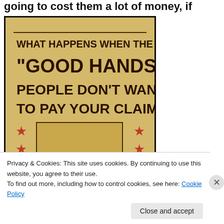going to cost them a lot of money, if
[Figure (photo): Vintage-style poster on yellow/tan background with dark brown bold text reading: WHAT HAPPENS WHEN THE "GOOD HANDS" PEOPLE DON'T WANT TO PAY YOUR CLAIM? Below the text are red stars on either side and a red illustrated fist/hand image in a framed box.]
Privacy & Cookies: This site uses cookies. By continuing to use this website, you agree to their use.
To find out more, including how to control cookies, see here: Cookie Policy